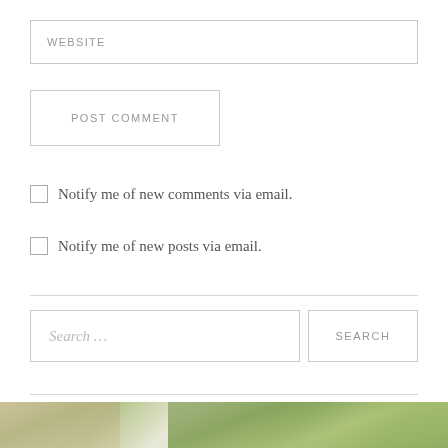WEBSITE
POST COMMENT
Notify me of new comments via email.
Notify me of new posts via email.
Search …
SEARCH
[Figure (photo): Bottom portion of an outdoor photo showing trees with green foliage against a light sky, partially visible at the bottom of the page.]